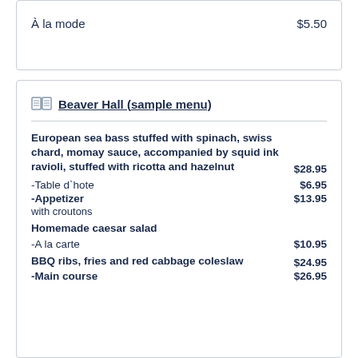À la mode   $5.50
Beaver Hall (sample menu)
European sea bass stuffed with spinach, swiss chard, momay sauce, accompanied by squid ink ravioli, stuffed with ricotta and hazelnut   $28.95
-Table d`hote   $6.95
-Appetizer   $13.95
with croutons
Homemade caesar salad
-A la carte   $10.95
BBQ ribs, fries and red cabbage coleslaw   $24.95
-Main course   $26.95